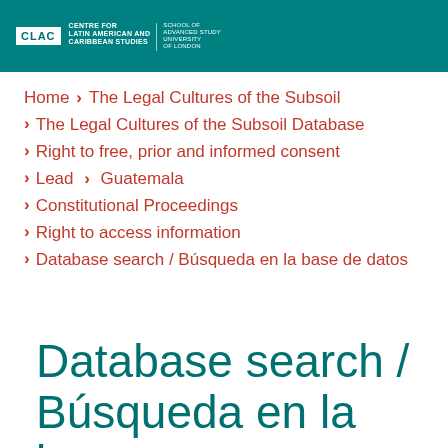CLAC | Centre for Latin American and Caribbean Studies | School of Advanced Study, University of London
Home > The Legal Cultures of the Subsoil
The Legal Cultures of the Subsoil Database
Right to free, prior and informed consent
Lead > Guatemala
Constitutional Proceedings
Right to access information
Database search / Búsqueda en la base de datos
Database search / Búsqueda en la base